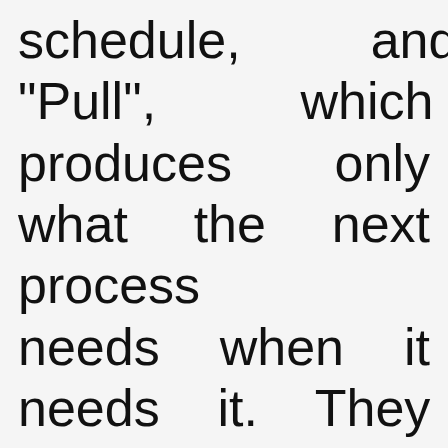schedule, and "Pull", which produces only what the next process needs when it needs it. They explain why "Push"